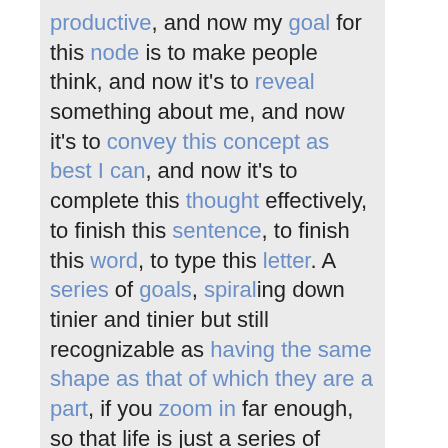productive, and now my goal for this node is to make people think, and now it's to reveal something about me, and now it's to convey this concept as best I can, and now it's to complete this thought effectively, to finish this sentence, to finish this word, to type this letter. A series of goals, spiraling down tinier and tinier but still recognizable as having the same shape as that of which they are a part, if you zoom in far enough, so that life is just a series of nested and nested and nested goals, and in the end what it comes down to is that every moment of your life is a triumph; every infinitesimal instant, you have